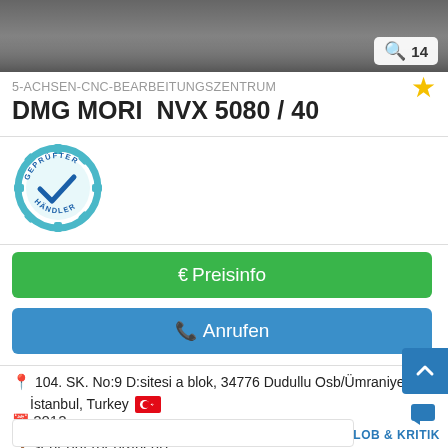[Figure (photo): Top portion of a CNC machine product photo, partially visible. Shows dark machinery. Counter badge shows 14 images.]
5-ACHSEN-CNC-BEARBEITUNGSZENTRUM
DMG MORI  NVX 5080 / 40
[Figure (logo): Geprüfter Händler (verified dealer) badge - blue teal gear/cogwheel with checkmark and text]
€ Preisinfo
✆ Anrufen
104. SK. No:9 D:sitesi a blok, 34776 Dudullu Osb/Ümraniye/İstanbul, Turkey 🇹🇷
2012
sehr gut (gebraucht)